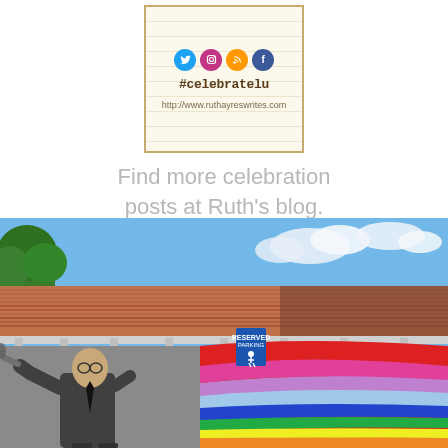[Figure (illustration): Blog card with social media icons (Twitter, Instagram, RSS, Facebook), hashtag #celebratelu, and URL http://www.ruthayreswrites.com on a lined notepad background with a tan/gold border]
Find more celebration posts at Ruth's blog.
[Figure (photo): Outdoor photo of a colorful street mural on a building wall. The mural features a black-and-white figure of a man in a suit playing a trumpet, with a vibrant rainbow of colored waves (red, pink, purple, blue, green, yellow, orange) flowing to the right. The building has a rusty corrugated metal roof, and there are trees and a blue sky with clouds visible above. A blue handicap parking sign is visible on the wall.]